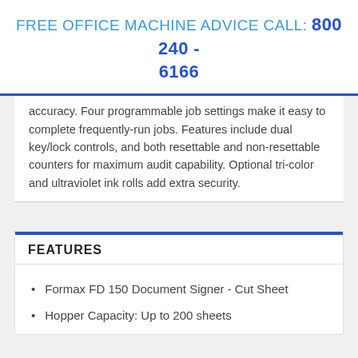FREE OFFICE MACHINE ADVICE CALL: 800 240 - 6166
accuracy. Four programmable job settings make it easy to complete frequently-run jobs. Features include dual key/lock controls, and both resettable and non-resettable counters for maximum audit capability. Optional tri-color and ultraviolet ink rolls add extra security.
FEATURES
Formax FD 150 Document Signer - Cut Sheet
Hopper Capacity: Up to 200 sheets